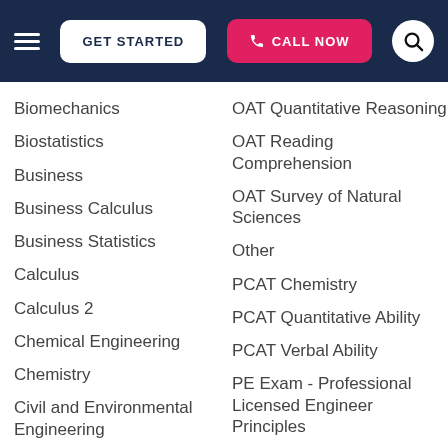GET STARTED | CALL NOW
Biomechanics
Biostatistics
Business
Business Calculus
Business Statistics
Calculus
Calculus 2
Chemical Engineering
Chemistry
Civil and Environmental Engineering
Civil Engineering
OAT Quantitative Reasoning
OAT Reading Comprehension
OAT Survey of Natural Sciences
Other
PCAT Chemistry
PCAT Quantitative Ability
PCAT Verbal Ability
PE Exam - Professional Licensed Engineer Principles